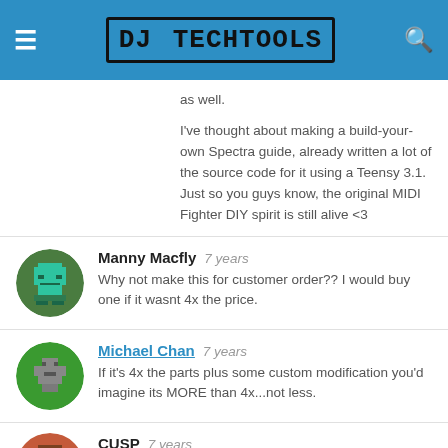DJ TechTools
as well.
I've thought about making a build-your-own Spectra guide, already written a lot of the source code for it using a Teensy 3.1. Just so you guys know, the original MIDI Fighter DIY spirit is still alive <3
Manny Macfly  7 years
Why not make this for customer order?? I would buy one if it wasnt 4x the price.
Michael Chan  7 years
If it's 4x the parts plus some custom modification you'd imagine its MORE than 4x...not less.
CUSP  7 years
That is just up here and... Even if you ask it like th